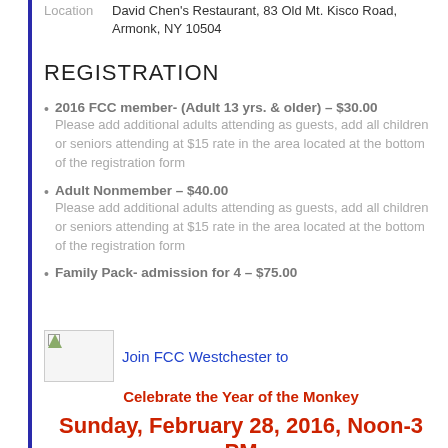Location   David Chen's Restaurant, 83 Old Mt. Kisco Road, Armonk, NY 10504
REGISTRATION
2016 FCC member- (Adult 13 yrs. & older) – $30.00
Please add additional adults attending as guests, add all children or seniors attending at $15 rate in the area located at the bottom of the registration form
Adult Nonmember – $40.00
Please add additional adults attending as guests, add all children or seniors attending at $15 rate in the area located at the bottom of the registration form
Family Pack- admission for 4 – $75.00
[Figure (photo): Small image placeholder for FCC Westchester logo or event image]
Join FCC Westchester to
Celebrate the Year of the Monkey
Sunday, February 28, 2016, Noon-3 PM